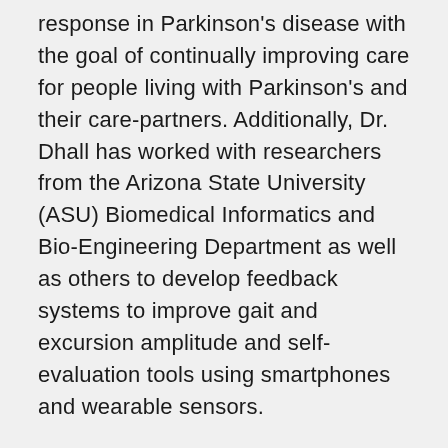response in Parkinson's disease with the goal of continually improving care for people living with Parkinson's and their care-partners. Additionally, Dr. Dhall has worked with researchers from the Arizona State University (ASU) Biomedical Informatics and Bio-Engineering Department as well as others to develop feedback systems to improve gait and excursion amplitude and self-evaluation tools using smartphones and wearable sensors.
As an educator, Dr. Dhall shares UAMS's deep commitment to nurturing the next generation of Parkinson's disease researchers and neurologists. At Muhammad Ali Parkinson's Center, he mentored six movement disorders fellows who are now in practice and 11